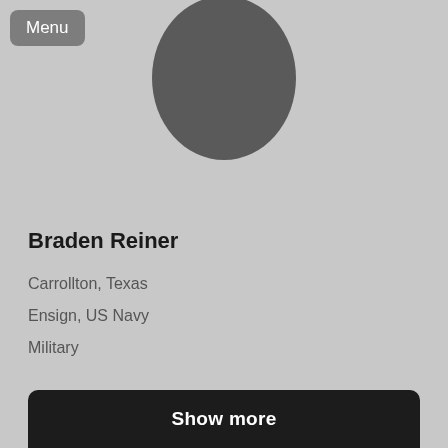[Figure (photo): Generic silhouette placeholder profile photo of a person, gray on gray background]
Menu
Braden Reiner
Carrollton, Texas
Ensign, US Navy
Military
Show more